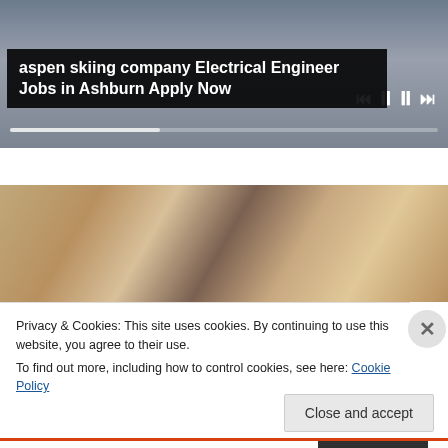[Figure (screenshot): Video player with blurred person in background, media controls (rewind, pause, forward), and seek bar]
aspen skiing company Electrical Engineer Jobs in Ashburn Apply Now
[Figure (photo): Close-up photo of a blonde woman and a man with blonde hair]
Privacy & Cookies: This site uses cookies. By continuing to use this website, you agree to their use.
To find out more, including how to control cookies, see here: Cookie Policy
Close and accept